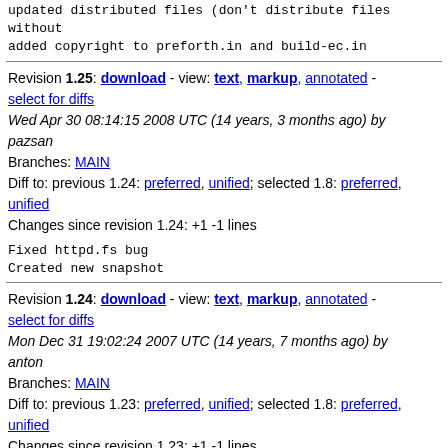updated distributed files (don't distribute files without added copyright to preforth.in and build-ec.in
Revision 1.25: download - view: text, markup, annotated - select for diffs
Wed Apr 30 08:14:15 2008 UTC (14 years, 3 months ago) by pazsan
Branches: MAIN
Diff to: previous 1.24: preferred, unified; selected 1.8: preferred, unified
Changes since revision 1.24: +1 -1 lines
Fixed httpd.fs bug
Created new snapshot
Revision 1.24: download - view: text, markup, annotated - select for diffs
Mon Dec 31 19:02:24 2007 UTC (14 years, 7 months ago) by anton
Branches: MAIN
Diff to: previous 1.23: preferred, unified; selected 1.8: preferred, unified
Changes since revision 1.23: +1 -1 lines
updated copyright year after changing license notice